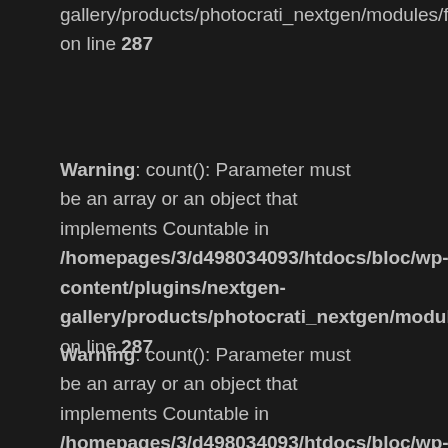gallery/products/photocrati_nextgen/modules/fs/cl
on line 287
Warning: count(): Parameter must be an array or an object that implements Countable in /homepages/3/d498034093/htdocs/bloc/wp-content/plugins/nextgen-gallery/products/photocrati_nextgen/modules/fs/cl
on line 287
Warning: count(): Parameter must be an array or an object that implements Countable in /homepages/3/d498034093/htdocs/bloc/wp-content/plugins/nextgen-gallery/products/photocrati_nextgen/modules/fs/cl
on line 287